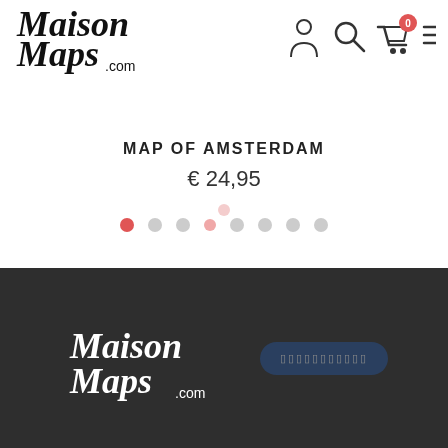[Figure (logo): MaisonMaps.com logo in black brush script font with .com in smaller sans-serif]
[Figure (infographic): Navigation icons: person/account, search magnifier, shopping cart with red badge showing 0, hamburger menu]
MAP OF AMSTERDAM
€ 24,95
[Figure (infographic): Carousel dot indicators: 8 dots in a row, first dot is red/active, rest are light grey, with a pink floating dot above]
[Figure (logo): MaisonMaps.com logo in white brush script on dark grey background, with a dark blue oval badge containing placeholder text (obfuscated)]